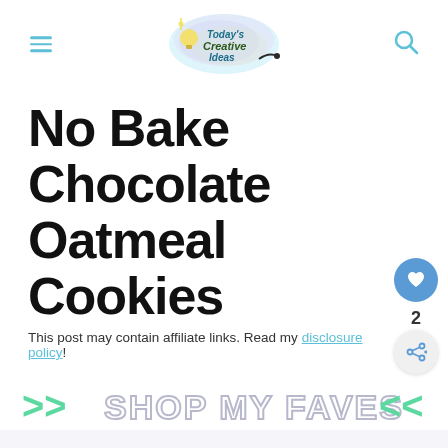Today's Creative Ideas — navigation header with logo, hamburger menu, and search icon
No Bake Chocolate Oatmeal Cookies
This post may contain affiliate links. Read my disclosure policy!
[Figure (infographic): >> SHOP MY FAVES << banner with teal arrows and outlined gray text]